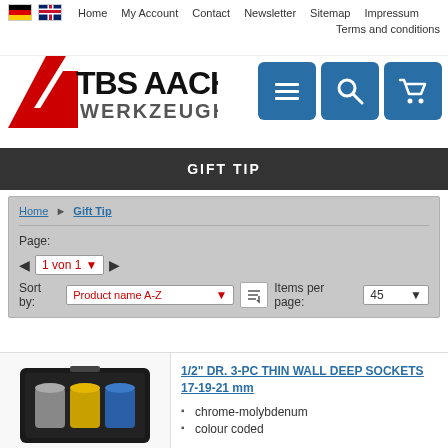Home  My Account  Contact  Newsletter  Sitemap  Impressum  Terms and conditions
[Figure (logo): TBS Aachen Werkzeughandel logo with red angular shape and bold black/grey text]
[Figure (infographic): Three blue square icon buttons: hamburger menu, search magnifier, shopping cart]
GIFT TIP
Home > Gift Tip
Page: 1 von 1  Sort by: Product name A-Z  Items per page: 45
1/2" DR. 3-PC THIN WALL DEEP SOCKETS 17-19-21 mm
chrome-molybdenum
colour coded
[Figure (photo): Black plastic toolcase with three deep socket tools (gold, silver, blue) inside]